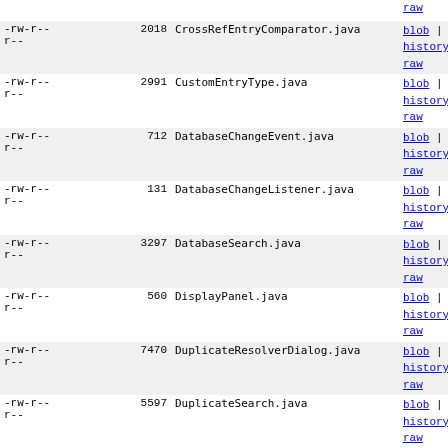| permissions | size | filename | actions |
| --- | --- | --- | --- |
| -rw-r--r-- |  |  | raw |
| -rw-r--r-- | 2018 | CrossRefEntryComparator.java | blob | history | raw |
| -rw-r--r-- | 2991 | CustomEntryType.java | blob | history | raw |
| -rw-r--r-- | 712 | DatabaseChangeEvent.java | blob | history | raw |
| -rw-r--r-- | 131 | DatabaseChangeListener.java | blob | history | raw |
| -rw-r--r-- | 3297 | DatabaseSearch.java | blob | history | raw |
| -rw-r--r-- | 560 | DisplayPanel.java | blob | history | raw |
| -rw-r--r-- | 7470 | DuplicateResolverDialog.java | blob | history | raw |
| -rw-r--r-- | 5597 | DuplicateSearch.java | blob | history | raw |
| -rw-r--r-- | 5306 | EntryComparator.java | blob | history | raw |
| -rw-r--r-- | 13742 | EntryCustomizationDialog.java | blob | history | raw |
| -rw-r--r-- | 42015 | EntryEditor.java | blob | history | raw |
| -rw-r--r-- | 14800 | EntryEditorTab.java | blob | history | raw |